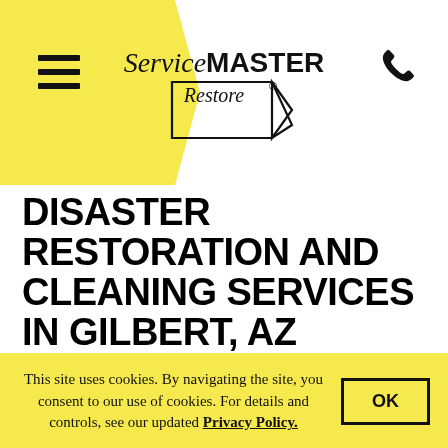[Figure (logo): ServiceMASTER Restore logo with triangle/arrow graphic in the center top of the page]
DISASTER RESTORATION AND CLEANING SERVICES IN GILBERT, AZ
ServiceMaster All Care Restoration has been providing disaster restoration and cleaning services for the homes and buildings in the Gilbert, AZ area since 2005. Over the years, our technicians have been trained and
This site uses cookies. By navigating the site, you consent to our use of cookies. For details and controls, see our updated Privacy Policy.